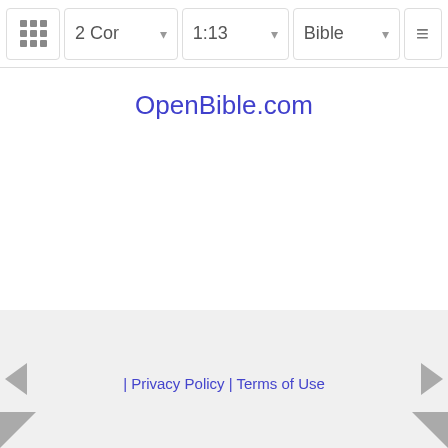2 Cor | 1:13 | Bible
OpenBible.com
| Privacy Policy | Terms of Use